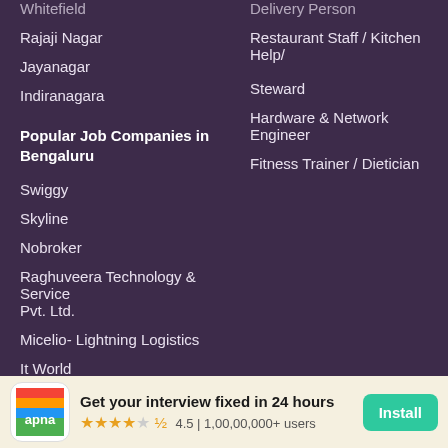Whitefield
Delivery Person
Rajaji Nagar
Restaurant Staff / Kitchen Help/ Steward
Jayanagar
Hardware & Network Engineer
Indiranagara
Fitness Trainer / Dietician
Popular Job Companies in Bengaluru
Swiggy
Skyline
Nobroker
Raghuveera Technology & Service Pvt. Ltd.
Micelio- Lightning Logistics
It World
S Source
Ciel Hr
Thevritti India Private Limited
[Figure (screenshot): Apna app install banner with logo, tagline 'Get your interview fixed in 24 hours', rating 4.5 with stars, 1,00,00,000+ users, and Install button]